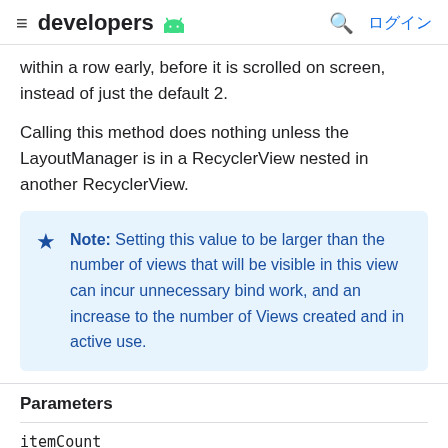developers
within a row early, before it is scrolled on screen, instead of just the default 2.
Calling this method does nothing unless the LayoutManager is in a RecyclerView nested in another RecyclerView.
Note: Setting this value to be larger than the number of views that will be visible in this view can incur unnecessary bind work, and an increase to the number of Views created and in active use.
Parameters
itemCount